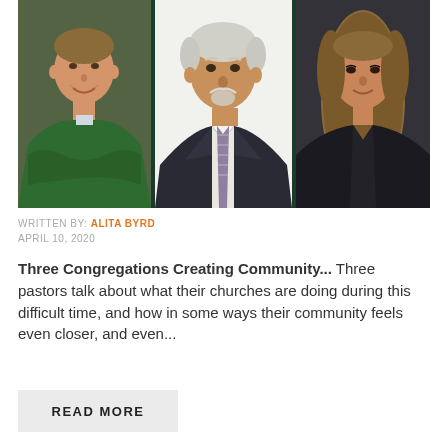[Figure (photo): Three people in a collage photo: a man in a green sweater on the left, an older man in a suit with a tie in the center, and a woman with long hair on the right, against a dark green background strip.]
WRITTEN BY: ALITA BYRD
APRIL 10, 2020
Three Congregations Creating Community... Three pastors talk about what their churches are doing during this difficult time, and how in some ways their community feels even closer, and even...
READ MORE